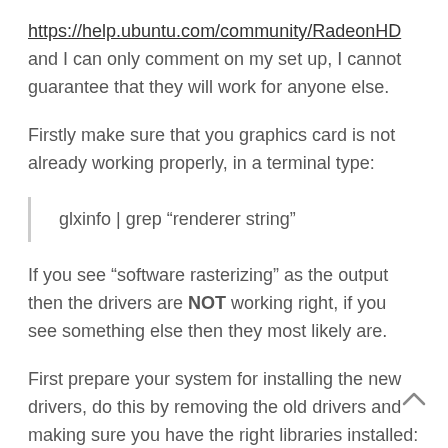https://help.ubuntu.com/community/RadeonHD and I can only comment on my set up, I cannot guarantee that they will work for anyone else.
Firstly make sure that you graphics card is not already working properly, in a terminal type:
glxinfo | grep “renderer string”
If you see “software rasterizing” as the output then the drivers are NOT working right, if you see something else then they most likely are.
First prepare your system for installing the new drivers, do this by removing the old drivers and making sure you have the right libraries installed: